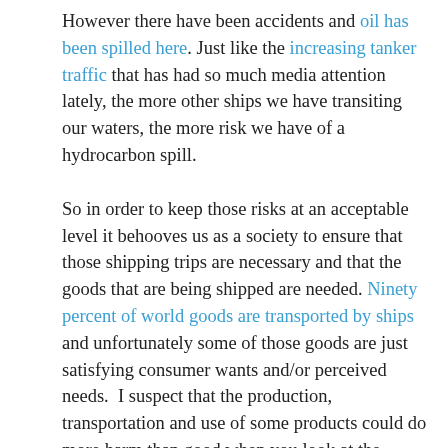However there have been accidents and oil has been spilled here. Just like the increasing tanker traffic that has had so much media attention lately, the more other ships we have transiting our waters, the more risk we have of a hydrocarbon spill.

So in order to keep those risks at an acceptable level it behooves us as a society to ensure that those shipping trips are necessary and that the goods that are being shipped are needed. Ninety percent of world goods are transported by ships and unfortunately some of those goods are just satisfying consumer wants and/or perceived needs.  I suspect that the production, transportation and use of some products could do more harm than good when you look at the bigger picture of world environmental and socioeconomic sustainability. Oil and coal might come immediately to mind but there are many other examples. What would it take to ensure all products shipped fit into a world view of sustainable